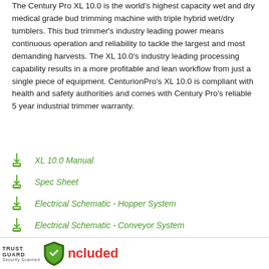The Century Pro XL 10.0 is the world's highest capacity wet and dry medical grade bud trimming machine with triple hybrid wet/dry tumblers. This bud trimmer's industry leading power means continuous operation and reliability to tackle the largest and most demanding harvests. The XL 10.0's industry leading processing capability results in a more profitable and lean workflow from just a single piece of equipment. CenturionPro's XL 10.0 is compliant with health and safety authorities and comes with Century Pro's reliable 5 year industrial trimmer warranty.
XL 10.0 Manual
Spec Sheet
Electrical Schematic - Hopper System
Electrical Schematic - Conveyor System
Floor Plans - Hopper System
Floor Plans - Conveyor System
TRUST GUARD Security Scanned | ncluded